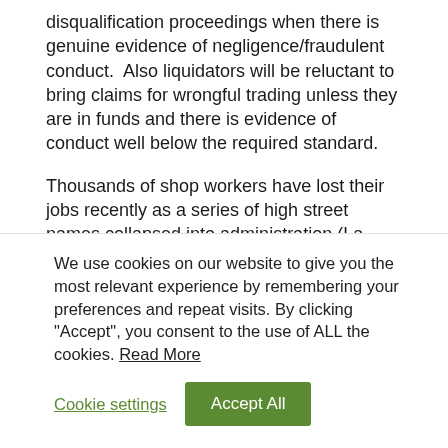disqualification proceedings when there is genuine evidence of negligence/fraudulent conduct.  Also liquidators will be reluctant to bring claims for wrongful trading unless they are in funds and there is evidence of conduct well below the required standard.
Thousands of shop workers have lost their jobs recently as a series of high street names collapsed into administration (La Senza, Jane Norman, b2Jeans, Barratt's, Pumpkin Patch, JJB Sports etc), battered by a combination of weak demand and escalating costs. In the current climate, many further fashion businesses are likely to fail. The question will always be whether the director approached the situation pragmatically
We use cookies on our website to give you the most relevant experience by remembering your preferences and repeat visits. By clicking "Accept", you consent to the use of ALL the cookies. Read More